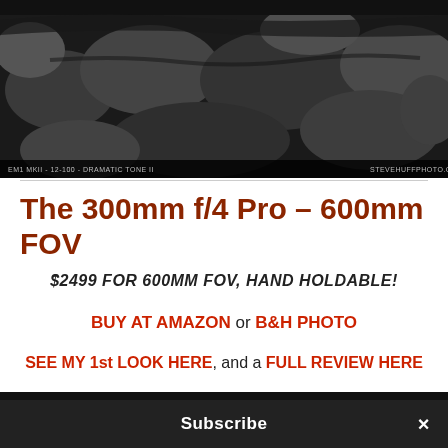[Figure (photo): Black and white photo of rocks with water, watermark text 'EM1 MKII - 12-100 - DRAMATIC TONE II' on left and 'STEVEHUFFPHOTO.COM' on right]
The 300mm f/4 Pro – 600mm FOV
$2499 FOR 600MM FOV, HAND HOLDABLE!
BUY AT AMAZON or B&H PHOTO
SEE MY 1st LOOK HERE, and a FULL REVIEW HERE
[Figure (photo): Close-up photo of a black telephoto camera lens (Olympus 300mm f/4 Pro) on dark background]
Subscribe